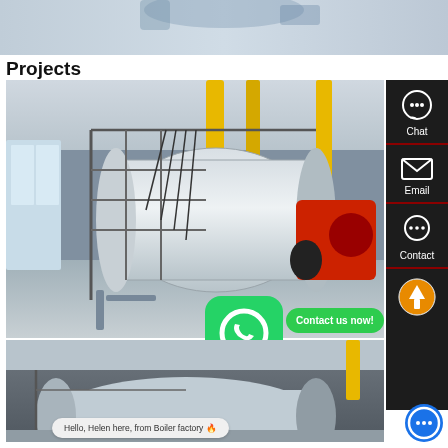[Figure (photo): Top portion of industrial boiler or equipment product photo, partially cropped]
Projects
[Figure (photo): Large industrial boiler installation photo showing a white cylindrical boiler with metal scaffolding and yellow pipes in a factory building, with a red burner unit attached]
[Figure (screenshot): WhatsApp icon (green rounded square with white phone receiver)]
Contact us now!
Chat
Email
Contact
[Figure (photo): Second industrial boiler installation photo, lower portion, showing equipment in a factory setting]
Hello, Helen here, from Boiler factory 🔥